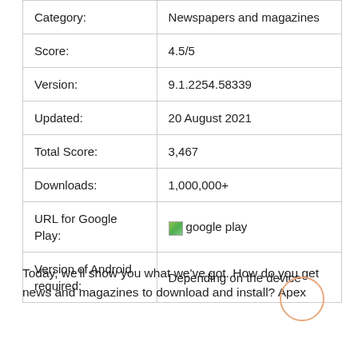| Category | Newspapers and magazines |
| --- | --- |
| Score: | 4.5/5 |
| Version: | 9.1.2254.58339 |
| Updated: | 20 August 2021 |
| Total Score: | 3,467 |
| Downloads: | 1,000,000+ |
| URL for Google Play: | [google play image] |
| Version of Android required: | Depending on the device |
Today, we'll show you what we've got. How do you get news and magazines to download and install? Apex News latest free and best to Read information, breaking...